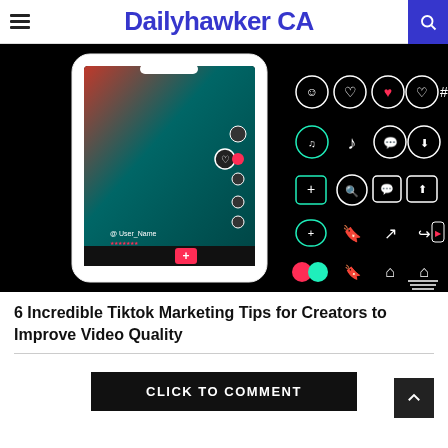Dailyhawker CA
[Figure (screenshot): TikTok app interface showing a smartphone mockup on the left with TikTok UI, and a grid of TikTok icons on the right on a black background]
6 Incredible Tiktok Marketing Tips for Creators to Improve Video Quality